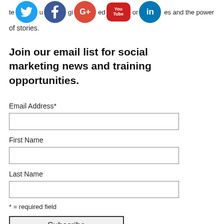[Figure (illustration): Social media icons: Twitter (blue bird), Facebook (blue f), Google+ (red G+), YouTube (red You Tube), LinkedIn (blue in)]
te…u… gi…ed… or…es and the power of stories.
Join our email list for social marketing news and training opportunities.
Email Address*
First Name
Last Name
* = required field
Subscribe